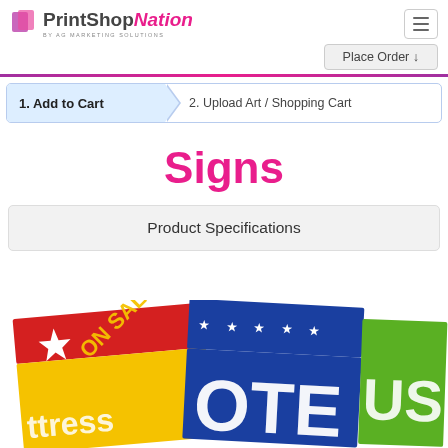PrintShopNation BY AG MARKETING SOLUTIONS
Place Order ↓
1. Add to Cart
2. Upload Art / Shopping Cart
Signs
Product Specifications
[Figure (photo): Three colorful printed signs partially visible: a red and yellow 'ON SALE' sign with a star, a blue 'VOTE' sign with stars, and a green 'USE' sign.]